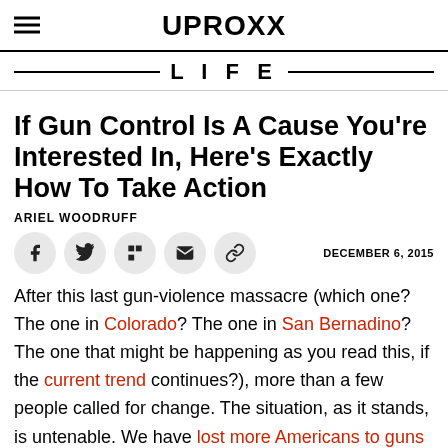UPROXX
LIFE
If Gun Control Is A Cause You're Interested In, Here's Exactly How To Take Action
ARIEL WOODRUFF
DECEMBER 6, 2015
After this last gun-violence massacre (which one? The one in Colorado? The one in San Bernadino? The one that might be happening as you read this, if the current trend continues?), more than a few people called for change. The situation, as it stands, is untenable. We have lost more Americans to guns